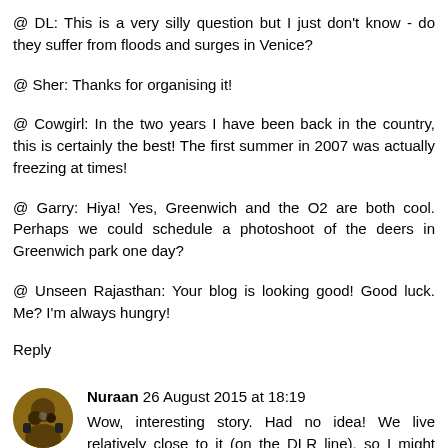@ DL: This is a very silly question but I just don't know - do they suffer from floods and surges in Venice?
@ Sher: Thanks for organising it!
@ Cowgirl: In the two years I have been back in the country, this is certainly the best! The first summer in 2007 was actually freezing at times!
@ Garry: Hiya! Yes, Greenwich and the O2 are both cool. Perhaps we could schedule a photoshoot of the deers in Greenwich park one day?
@ Unseen Rajasthan: Your blog is looking good! Good luck. Me? I'm always hungry!
Reply
Nuraan 26 August 2015 at 18:19
Wow, interesting story. Had no idea! We live relatively close to it (on the DLR line), so I might take a visit there. I've